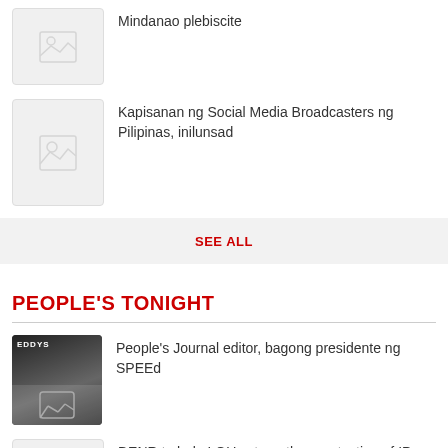Mindanao plebiscite
Kapisanan ng Social Media Broadcasters ng Pilipinas, inilunsad
SEE ALL
PEOPLE'S TONIGHT
People's Journal editor, bagong presidente ng SPEEd
DENR to help LGUs strengthen protection of IPs, habitats